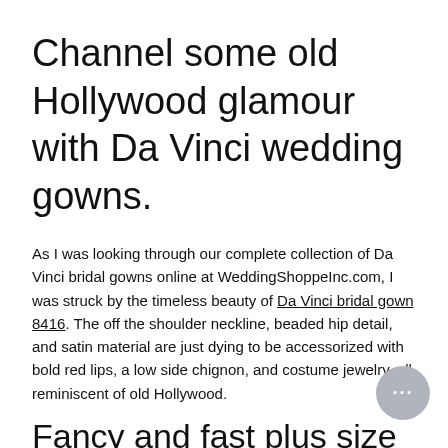Channel some old Hollywood glamour with Da Vinci wedding gowns.
As I was looking through our complete collection of Da Vinci bridal gowns online at WeddingShoppeInc.com, I was struck by the timeless beauty of Da Vinci bridal gown 8416. The off the shoulder neckline, beaded hip detail, and satin material are just dying to be accessorized with bold red lips, a low side chignon, and costume jewelry, all reminiscent of old Hollywood.
Fancy and fast plus size bridal gowns at the Wedding Shoppe.